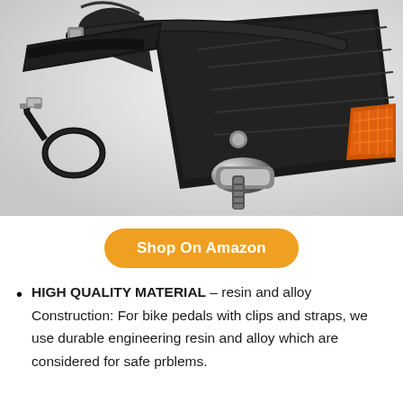[Figure (photo): Close-up photo of black bicycle pedals with toe clips and straps, showing alloy construction with orange reflectors. A separate strap/buckle is visible in the lower left.]
Shop On Amazon
HIGH QUALITY MATERIAL – resin and alloy Construction: For bike pedals with clips and straps, we use durable engineering resin and alloy which are considered for safe prblems.